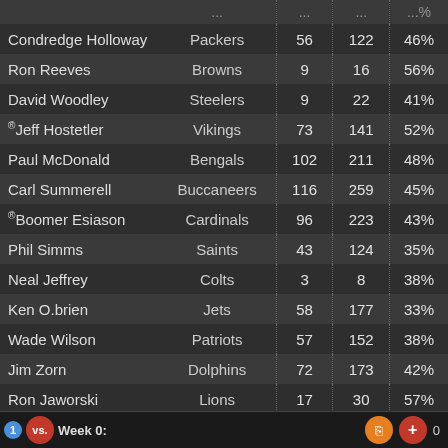| Player | Team | Comp | Att | Pct |
| --- | --- | --- | --- | --- |
| (partial top row) |  | ... | ... | ...% |
| Condredge Holloway | Packers | 56 | 122 | 46% |
| Ron Reeves | Browns | 9 | 16 | 56% |
| David Woodley | Steelers | 9 | 22 | 41% |
| ®Jeff Hostetler | Vikings | 73 | 141 | 52% |
| Paul McDonald | Bengals | 102 | 211 | 48% |
| Carl Summerell | Buccaneers | 116 | 259 | 45% |
| ®Boomer Esiason | Cardinals | 96 | 223 | 43% |
| Phil Simms | Saints | 43 | 124 | 35% |
| Neal Jeffrey | Colts | 3 | 8 | 38% |
| Ken O.brien | Jets | 58 | 177 | 33% |
| Wade Wilson | Patriots | 57 | 152 | 38% |
| Jim Zorn | Dolphins | 72 | 173 | 42% |
| Ron Jaworski | Lions | 17 | 30 | 57% |
| Jim McMahon | Oilers | 59 | 125 | 47% |
| ®Steve Pelluer | Cowboys | 8 | 28 | 29% |
| Mike Pagel | Giants | 41 | 104 | 39% |
| ®Jay Schroeder | Broncos | 33 | 98 | 34% |
| Bob Gagliano | Redskins |  |  |  |
1 vs. Week 0: 0